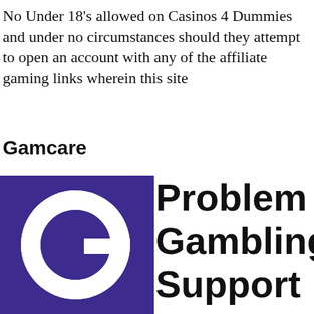No Under 18's allowed on Casinos 4 Dummies and under no circumstances should they attempt to open an account with any of the affiliate gaming links wherein this site
Gamcare
[Figure (logo): GamCare logo: purple circle with white letter G on the left, and bold black text 'Problem Gambling Support' on the right]